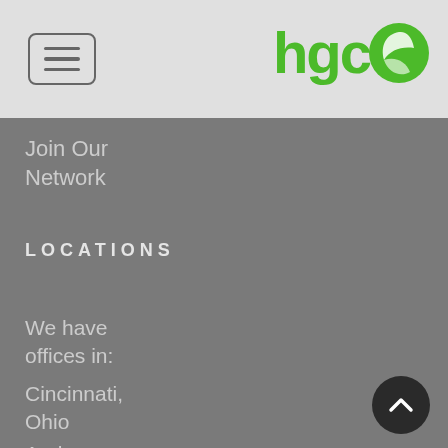[Figure (logo): HGC logo with green text 'hgco' and a green leaf icon circle]
Join Our Network
LOCATIONS
We have offices in:
Cincinnati, Ohio
Anderson, South Carolina